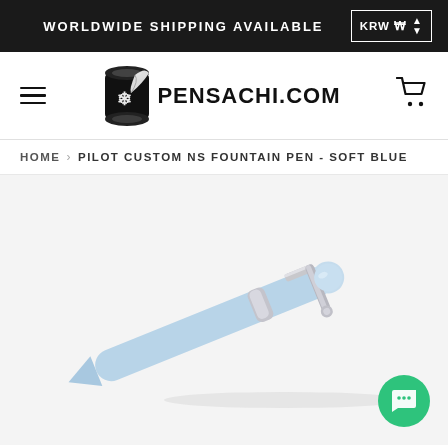WORLDWIDE SHIPPING AVAILABLE   KRW ₩
[Figure (logo): Pensachi.com logo with scroll and feather icon and text PENSACHI.COM]
HOME › PILOT CUSTOM NS FOUNTAIN PEN - SOFT BLUE
[Figure (photo): Product photo of a Pilot Custom NS fountain pen in soft blue color with silver trim, shown at an angle against a light gray/white background. A green chat bubble button is visible in the bottom right corner.]